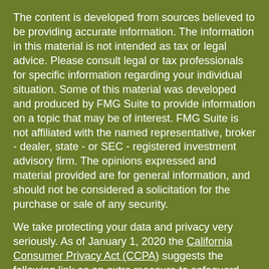The content is developed from sources believed to be providing accurate information. The information in this material is not intended as tax or legal advice. Please consult legal or tax professionals for specific information regarding your individual situation. Some of this material was developed and produced by FMG Suite to provide information on a topic that may be of interest. FMG Suite is not affiliated with the named representative, broker - dealer, state - or SEC - registered investment advisory firm. The opinions expressed and material provided are for general information, and should not be considered a solicitation for the purchase or sale of any security.
We take protecting your data and privacy very seriously. As of January 1, 2020 the California Consumer Privacy Act (CCPA) suggests the following link as an extra measure to safeguard your data: Do not sell my personal information.
Copyright 2022 FMG Suite.
Solomon M. Childs*, Aaron H. Stanley*, Steven V. Steinkirchner, and Paul C. Feldman are registered representatives offering securities and advisory services through registered representatives